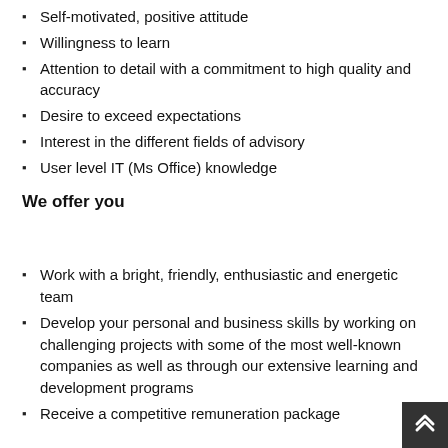Self-motivated, positive attitude
Willingness to learn
Attention to detail with a commitment to high quality and accuracy
Desire to exceed expectations
Interest in the different fields of advisory
User level IT (Ms Office) knowledge
We offer you
Work with a bright, friendly, enthusiastic and energetic team
Develop your personal and business skills by working on challenging projects with some of the most well-known companies as well as through our extensive learning and development programs
Receive a competitive remuneration package